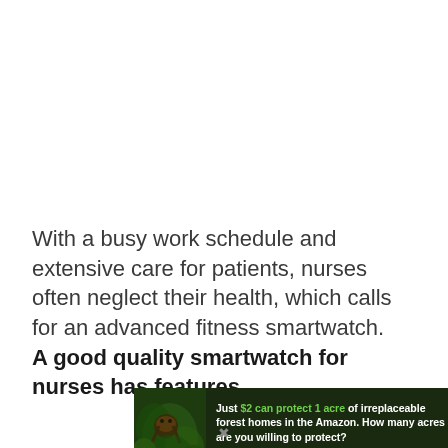With a busy work schedule and extensive care for patients, nurses often neglect their health, which calls for an advanced fitness smartwatch.
A good quality smartwatch for nurses has features
[Figure (infographic): Advertisement banner with dark forest background showing a sloth in a tree. Text reads: 'Just $2 can protect 1 acre of irreplaceable forest homes in the Amazon. How many acres are you willing to protect?' with a green 'PROTECT FORESTS NOW' button.]